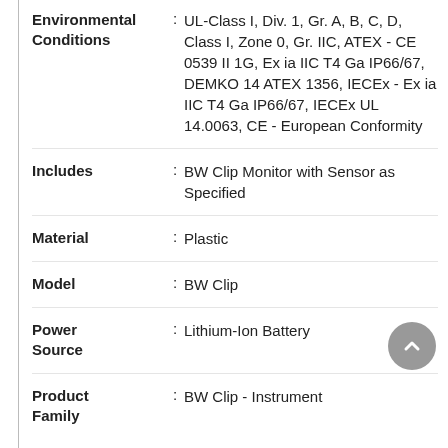| Property |  | Value |
| --- | --- | --- |
| Environmental Conditions | : | UL-Class I, Div. 1, Gr. A, B, C, D, Class I, Zone 0, Gr. IIC, ATEX - CE 0539 II 1G, Ex ia IIC T4 Ga IP66/67, DEMKO 14 ATEX 1356, IECEx - Ex ia IIC T4 Ga IP66/67, IECEx UL 14.0063, CE - European Conformity |
| Includes | : | BW Clip Monitor with Sensor as Specified |
| Material | : | Plastic |
| Model | : | BW Clip |
| Power Source | : | Lithium-Ion Battery |
| Product Family | : | BW Clip - Instrument |